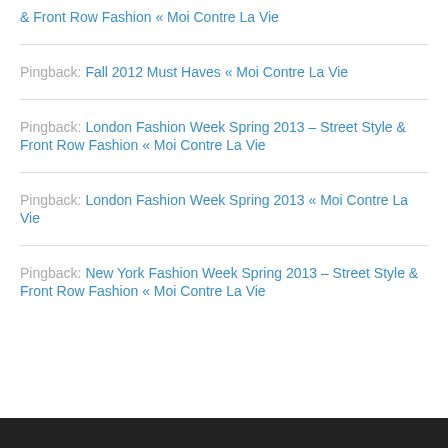& Front Row Fashion « Moi Contre La Vie
Pingback: Fall 2012 Must Haves « Moi Contre La Vie
Pingback: London Fashion Week Spring 2013 – Street Style & Front Row Fashion « Moi Contre La Vie
Pingback: London Fashion Week Spring 2013 « Moi Contre La Vie
Pingback: New York Fashion Week Spring 2013 – Street Style & Front Row Fashion « Moi Contre La Vie